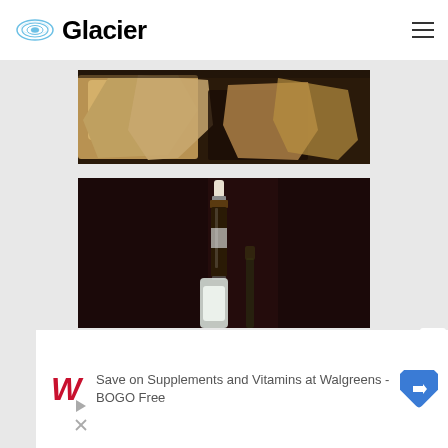Glacier
[Figure (photo): Close-up photo of chunks of cheese or bread on a dark cutting board]
[Figure (photo): Dark moody photo of a wine bottle with blurred background]
[Figure (other): Walgreens advertisement: Save on Supplements and Vitamins at Walgreens - BOGO Free]